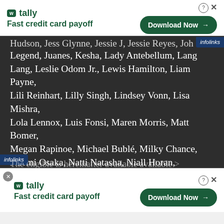[Figure (screenshot): Tally app advertisement banner at top: logo with 'w tally' icon, 'Fast credit card payoff' tagline, and green 'Download Now' button with arrow. Ad control icons (? and X) in top-right corner.]
Hudson, Jess Glynne, Jessie J, Jessie Reyes, John Legend, Juanes, Kesha, Lady Antebellum, Lang Lang, Leslie Odom Jr., Lewis Hamilton, Liam Payne, Lili Reinhart, Lilly Singh, Lindsey Vonn, Lisa Mishra, Lola Lennox, Luis Fonsi, Maren Morris, Matt Bomer, Megan Rapinoe, Michael Bublé, Milky Chance, Naomi Osaka, Natti Natasha, Niall Horan, Nomzamo Mbatha, P.K. Subban, Picture This, Rita Ora, Samuel L Jackson, Sarah Jessica Parker, Sebastián Yatra, Sheryl Crow, Sho Madjozi, SOFI TUKKER, SuperM, The Killers, Tim Gunn, Vishal Mishra and
[Figure (screenshot): Tally app advertisement banner at bottom: logo with 'w tally' icon, 'Fast credit card payoff' tagline, and green 'Download Now' button with arrow. Ad control and close icons visible.]